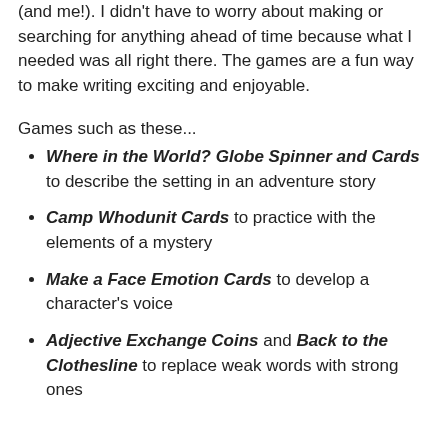(and me!). I didn't have to worry about making or searching for anything ahead of time because what I needed was all right there. The games are a fun way to make writing exciting and enjoyable.
Games such as these...
Where in the World? Globe Spinner and Cards to describe the setting in an adventure story
Camp Whodunit Cards to practice with the elements of a mystery
Make a Face Emotion Cards to develop a character's voice
Adjective Exchange Coins and Back to the Clothesline to replace weak words with strong ones